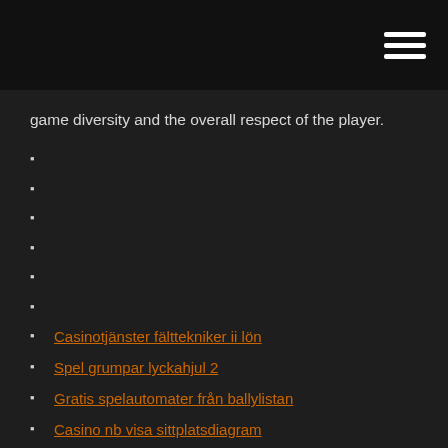game diversity and the overall respect of the player.
Casinotjänster fälttekniker ii lön
Spel grumpar lyckahjul 2
Gratis spelautomater från ballylistan
Casino nb visa sittplatsdiagram
Casino midas registreringsbonus
Manhatten slots casino ingen insättningsbonus